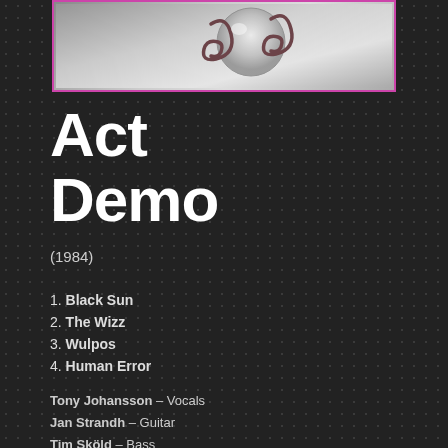[Figure (photo): Album art image showing decorative metallic/chrome elements on a grey-white gradient background, framed with a pink/magenta border]
Act
Demo
(1984)
1. Black Sun
2. The Wizz
3. Wulpos
4. Human Error
5. Christian Crusaders
6. Burning
7. The Sound Of The Northern Bell
8. The Rose
9. Concrete & Bars
Tony Johansson – Vocals
Jan Strandh – Guitar
Tim Sköld – Bass